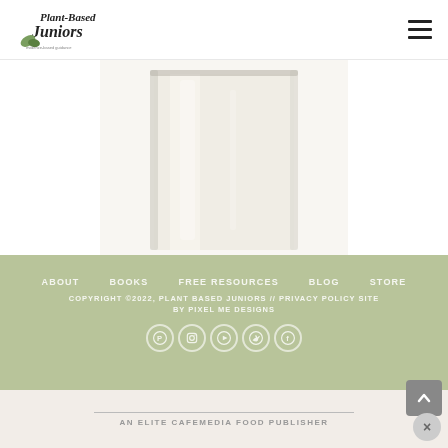Plant-Based Juniors
[Figure (photo): A glass of white milk, cropped close-up showing the glass filled with milk against a light background]
ABOUT  BOOKS  FREE RESOURCES  BLOG  STORE
COPYRIGHT ©2022, PLANT BASED JUNIORS // PRIVACY POLICY SITE BY PIXEL ME DESIGNS
Social icons: Pinterest, Instagram, YouTube, Twitter, Facebook
AN ELITE CAFEMEDIA FOOD PUBLISHER